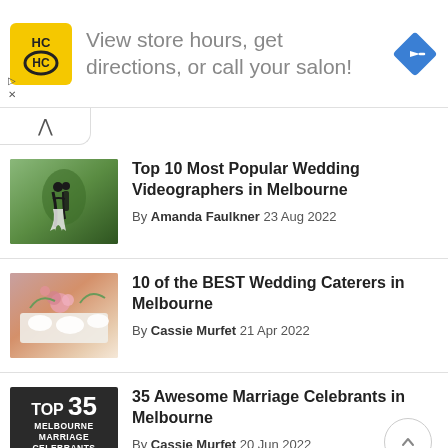[Figure (infographic): Advertisement banner: HC logo (yellow square with HC letters), text 'View store hours, get directions, or call your salon!', blue diamond arrow icon on right. Small play and X controls at left edge.]
Top 10 Most Popular Wedding Videographers in Melbourne — By Amanda Faulkner 23 Aug 2022
10 of the BEST Wedding Caterers in Melbourne — By Cassie Murfet 21 Apr 2022
35 Awesome Marriage Celebrants in Melbourne — By Cassie Murfet 20 Jun 2022